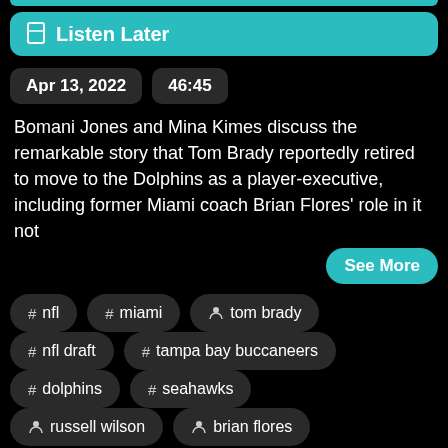Listen Later
Apr 13, 2022   46:45
Bomani Jones and Mina Kimes discuss the remarkable story that Tom Brady reportedly retired to move to the Dolphins as a player-executive, including former Miami coach Brian Flores' role in it not
See More
# nfl
# miami
person tom brady
# nfl draft
# tampa bay buccaneers
# dolphins
# seahawks
person russell wilson
person brian flores